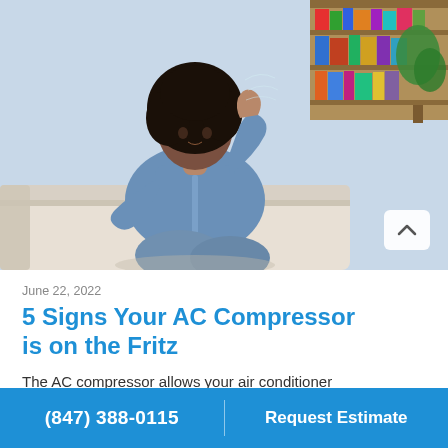[Figure (photo): A woman in a denim shirt sitting on a couch, fanning herself and appearing hot and uncomfortable, with bookshelves in the background.]
June 22, 2022
5 Signs Your AC Compressor is on the Fritz
The AC compressor allows your air conditioner to transfer heat from inside your home to the air
(847) 388-0115  |  Request Estimate